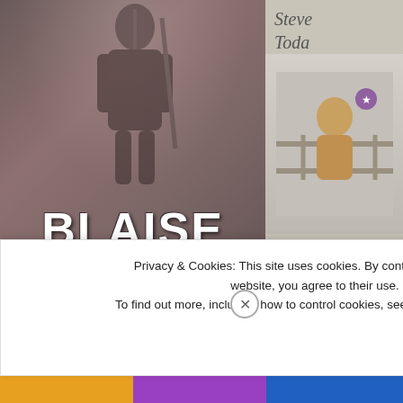[Figure (illustration): Book cover for 'Blaise Maximillian: Bitter Defeat' — sepia/dark-toned illustration of a soldier figure at top, with large bold white text 'BLAISE MAXIMILLIAN' and a banner subtitle 'BITTER DEFEAT']
[Figure (illustration): Partially visible second book cover on the right side, light tan/grey background with partial italic text at top. Shows an illustrated character.]
Star Wars...
May 24, 2...
In "Gamin...
Privacy & Cookies: This site uses cookies. By continuing to use this website, you agree to their use.
To find out more, including how to control cookies, see here: Cookie Policy
Close and accept